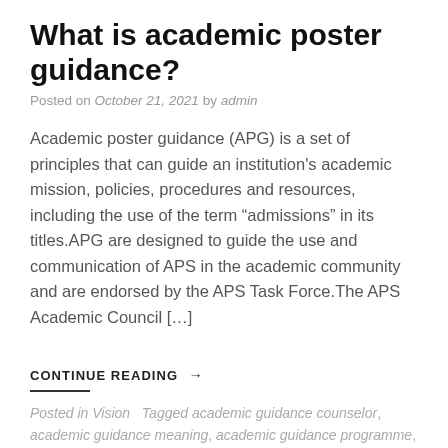What is academic poster guidance?
Posted on October 21, 2021 by admin
Academic poster guidance (APG) is a set of principles that can guide an institution's academic mission, policies, procedures and resources, including the use of the term “admissions” in its titles.APG are designed to guide the use and communication of APS in the academic community and are endorsed by the APS Task Force.The APS Academic Council […]
CONTINUE READING →
Posted in Vision   Tagged academic guidance counselor, academic guidance meaning, academic guidance programme, academic poster guidance